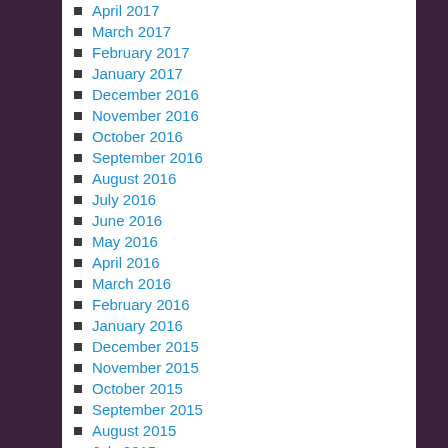April 2017
March 2017
February 2017
January 2017
December 2016
November 2016
October 2016
September 2016
August 2016
July 2016
June 2016
May 2016
April 2016
March 2016
February 2016
January 2016
December 2015
November 2015
October 2015
September 2015
August 2015
July 2015
June 2015
May 2015
April 2015
March 2015
February 2015
January 2015